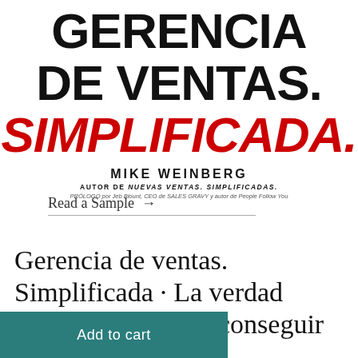GERENCIA DE VENTAS. SIMPLIFICADA.
MIKE WEINBERG
AUTOR DE NUEVAS VENTAS. SIMPLIFICADAS.
PRÓLOGO por Jeb Blount, CEO de SALES GRAVY y autor de People Follow You
Read a Sample →
Gerencia de ventas. Simplificada · La verdad conseguir
Add to cart